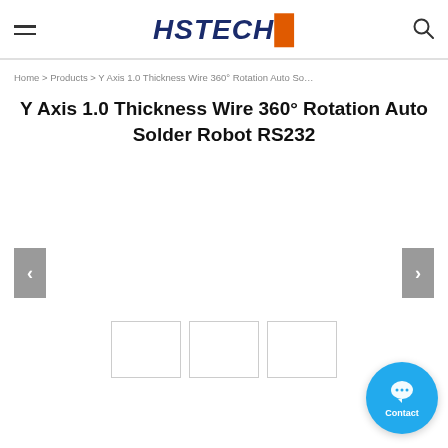HSTECH
Home > Products > Y Axis 1.0 Thickness Wire 360° Rotation Auto So…
Y Axis 1.0 Thickness Wire 360° Rotation Auto Solder Robot RS232
[Figure (photo): Product image carousel with left and right navigation arrows and three thumbnail images at the bottom]
[Figure (other): Contact chat button (blue circle with speech bubble icon and 'Contact' label)]